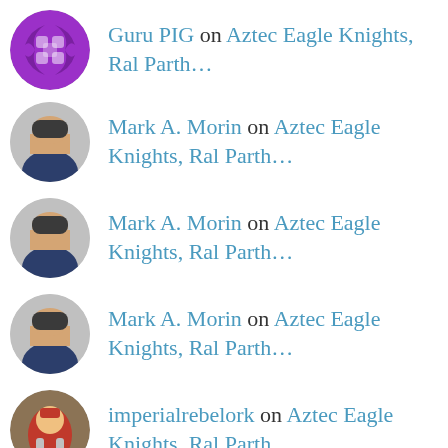Guru PIG on Aztec Eagle Knights, Ral Parth…
Mark A. Morin on Aztec Eagle Knights, Ral Parth…
Mark A. Morin on Aztec Eagle Knights, Ral Parth…
Mark A. Morin on Aztec Eagle Knights, Ral Parth…
imperialrebelork on Aztec Eagle Knights, Ral Parth…
theimperfectmodeller on Aztec Eagle Knights, Ral Parth…
dave2718 on Aztec Eagle Knights, Ral Parth…